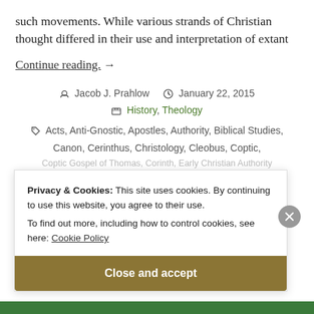such movements. While various strands of Christian thought differed in their use and interpretation of extant
Continue reading. →
Jacob J. Prahlow   January 22, 2015   History, Theology
Acts, Anti-Gnostic, Apostles, Authority, Biblical Studies, Canon, Cerinthus, Christology, Cleobus, Coptic,
Coptic Gospel of Thomas, Corinth, Early Christian Authority...
Privacy & Cookies: This site uses cookies. By continuing to use this website, you agree to their use.
To find out more, including how to control cookies, see here: Cookie Policy
Close and accept